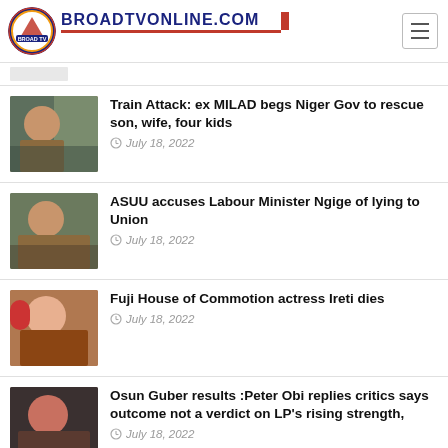BROADTVONLINE.COM
Train Attack: ex MILAD begs Niger Gov to rescue son, wife, four kids — July 18, 2022
ASUU accuses Labour Minister Ngige of lying to Union — July 18, 2022
Fuji House of Commotion actress Ireti dies — July 18, 2022
Osun Guber results :Peter Obi replies critics says outcome not a verdict on LP's rising strength, — July 18, 2022